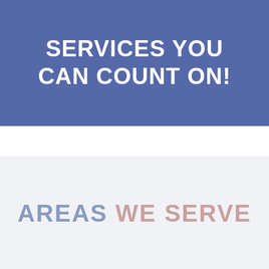SERVICES YOU CAN COUNT ON!
AREAS WE SERVE
WINCHENDON
TAP TO CALL NOW
978-297-2561
ASHBURNHAM